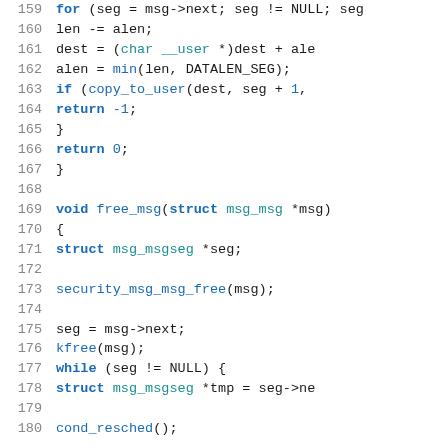[Figure (screenshot): Source code listing (C language) showing lines 159-180 of a kernel message handling file. Lines show code for copying message segments to user space and a free_msg function.]